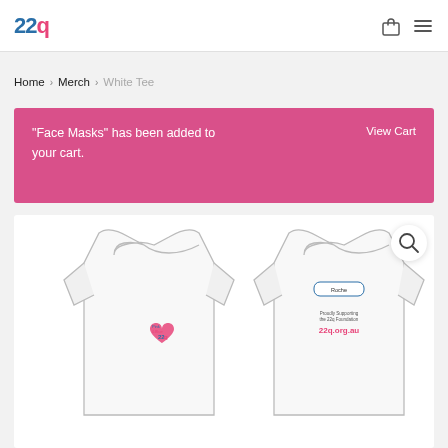22q | Home > Merch > White Tee
Home > Merch > White Tee
"Face Masks" has been added to your cart.  View Cart
[Figure (photo): White t-shirt product image showing front and back views with 22q Foundation logo and 22q.org.au text on the back]